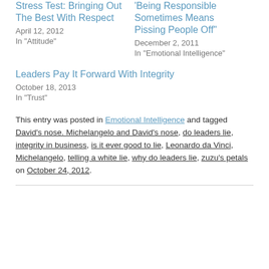Stress Test: Bringing Out The Best With Respect
April 12, 2012
In "Attitude"
'Being Responsible Sometimes Means Pissing People Off'
December 2, 2011
In "Emotional Intelligence"
Leaders Pay It Forward With Integrity
October 18, 2013
In "Trust"
This entry was posted in Emotional Intelligence and tagged David's nose. Michelangelo and David's nose, do leaders lie, integrity in business, is it ever good to lie, Leonardo da Vinci, Michelangelo, telling a white lie, why do leaders lie, zuzu's petals on October 24, 2012.